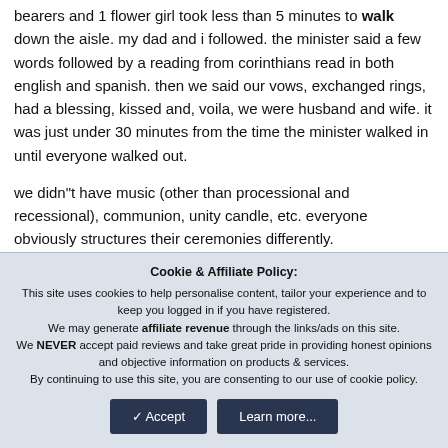bearers and 1 flower girl took less than 5 minutes to walk down the aisle. my dad and i followed. the minister said a few words followed by a reading from corinthians read in both english and spanish. then we said our vows, exchanged rings, had a blessing, kissed and, voila, we were husband and wife. it was just under 30 minutes from the time the minister walked in until everyone walked out.
we didn"t have music (other than processional and recessional), communion, unity candle, etc. everyone obviously structures their ceremonies differently.
Cookie & Affiliate Policy: This site uses cookies to help personalise content, tailor your experience and to keep you logged in if you have registered. We may generate affiliate revenue through the links/ads on this site. We NEVER accept paid reviews and take great pride in providing honest opinions and objective information on products & services. By continuing to use this site, you are consenting to our use of cookie policy.